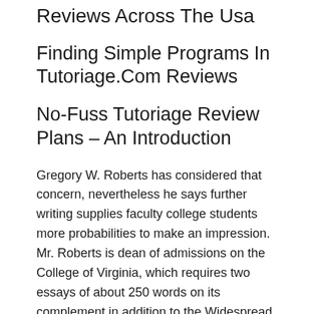Reviews Across The Usa
Finding Simple Programs In Tutoriage.Com Reviews
No-Fuss Tutoriage Review Plans – An Introduction
Gregory W. Roberts has considered that concern, nevertheless he says further writing supplies faculty college students more probabilities to make an impression. Mr. Roberts is dean of admissions on the College of Virginia, which requires two essays of about 250 words on its complement in addition to the Widespread Software essay. Asking for two fast solutions seems relevant and cheap," he says. Writing in a